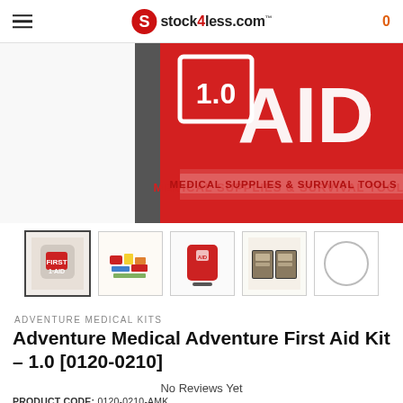stock4less.com
[Figure (photo): Close-up of a red first aid kit bag with white text reading '[1.0] AID' and 'MEDICAL SUPPLIES & SURVIVAL TOOLS'. The bag has a black zipper border.]
[Figure (photo): Thumbnail strip with 5 product images: (1) front view of first aid kit bag, (2) contents laid out, (3) red bag view, (4) open bag showing contents, (5) empty circle placeholder]
ADVENTURE MEDICAL KITS
Adventure Medical Adventure First Aid Kit – 1.0 [0120-0210]
No Reviews Yet
PRODUCT CODE:   0120-0210-AMK